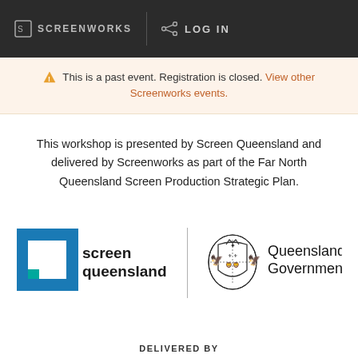SCREENWORKS | LOG IN
⚠ This is a past event. Registration is closed. View other Screenworks events.
This workshop is presented by Screen Queensland and delivered by Screenworks as part of the Far North Queensland Screen Production Strategic Plan.
[Figure (logo): Screen Queensland logo and Queensland Government logo side by side]
DELIVERED BY